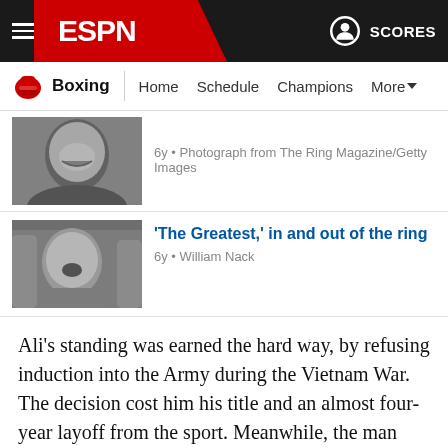ESPN Boxing - Navigation bar with hamburger menu, ESPN logo, Scores
Boxing | Home  Schedule  Champions  More
[Figure (photo): Black and white photo of Muhammad Ali laughing]
6y • Photograph from The Ring Magazine/Getty Images
[Figure (photo): Black and white photo of Muhammad Ali shouting]
'The Greatest,' in and out of the ring
6y • William Nack
Ali's standing was earned the hard way, by refusing induction into the Army during the Vietnam War. The decision cost him his title and an almost four-year layoff from the sport. Meanwhile, the man who won the heavyweight championship in his absence -- the 12th child born to Rubin and Dolly Frazier, sharecroppers from Laurel Bay, South Carolina -- was unforgivably cast as the "white man's champion." But if you